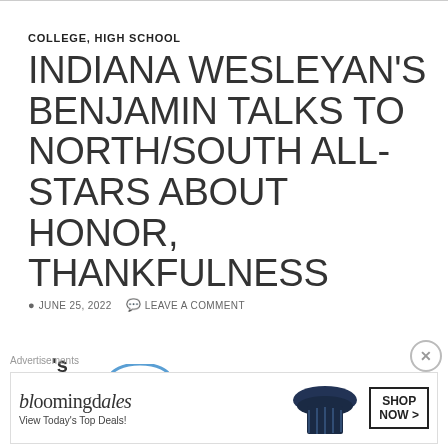COLLEGE, HIGH SCHOOL
INDIANA WESLEYAN'S BENJAMIN TALKS TO NORTH/SOUTH ALL-STARS ABOUT HONOR, THANKFULNESS
JUNE 25, 2022   LEAVE A COMMENT
[Figure (photo): Partial image showing text and a blue curved element, cropped at bottom of page]
Advertisements
[Figure (photo): Bloomingdale's advertisement banner with hat photo, 'View Today's Top Deals!' text, and 'SHOP NOW >' button]